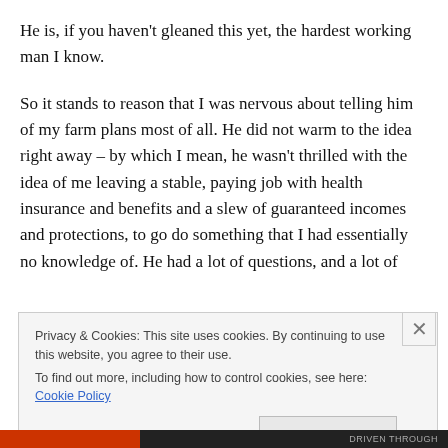He is, if you haven't gleaned this yet, the hardest working man I know.
So it stands to reason that I was nervous about telling him of my farm plans most of all. He did not warm to the idea right away – by which I mean, he wasn't thrilled with the idea of me leaving a stable, paying job with health insurance and benefits and a slew of guaranteed incomes and protections, to go do something that I had essentially no knowledge of. He had a lot of questions, and a lot of
Privacy & Cookies: This site uses cookies. By continuing to use this website, you agree to their use.
To find out more, including how to control cookies, see here: Cookie Policy
Close and accept